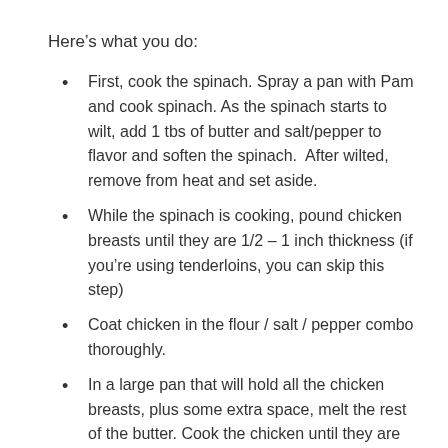Here’s what you do:
First, cook the spinach. Spray a pan with Pam and cook spinach. As the spinach starts to wilt, add 1 tbs of butter and salt/pepper to flavor and soften the spinach.  After wilted, remove from heat and set aside.
While the spinach is cooking, pound chicken breasts until they are 1/2 – 1 inch thickness (if you’re using tenderloins, you can skip this step)
Coat chicken in the flour / salt / pepper combo thoroughly.
In a large pan that will hold all the chicken breasts, plus some extra space, melt the rest of the butter. Cook the chicken until they are brown on each side. You can add additional butter (